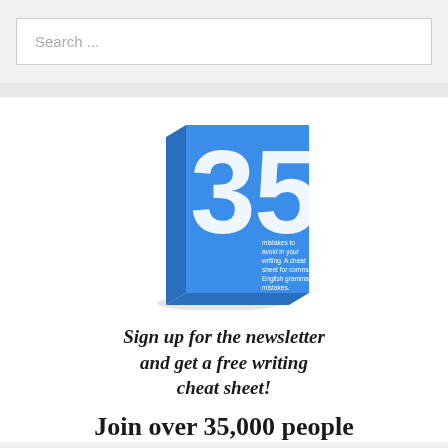Search ...
[Figure (illustration): Blue book cover showing '35 mistakes to avoid in your writing. A cheat sheet for common English grammar mistakes.' with large white number 35 on the cover, displayed at an angle with a shadow.]
Sign up for the newsletter and get a free writing cheat sheet!
Join over 35,000 people